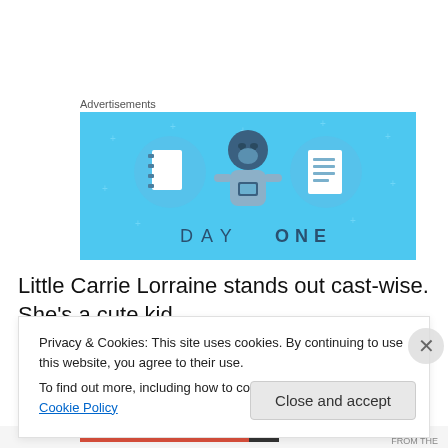Advertisements
[Figure (illustration): Day One app advertisement banner. Light blue background with illustrated character holding a phone, flanked by two circular icons showing notebook and lined document. Text reads 'DAY ONE' at the bottom.]
Little Carrie Lorraine stands out cast-wise. She’s a cute kid
and she gives Judy a sense of wonder and she is also
Privacy & Cookies: This site uses cookies. By continuing to use this website, you agree to their use.
To find out more, including how to control cookies, see here: Cookie Policy
Close and accept